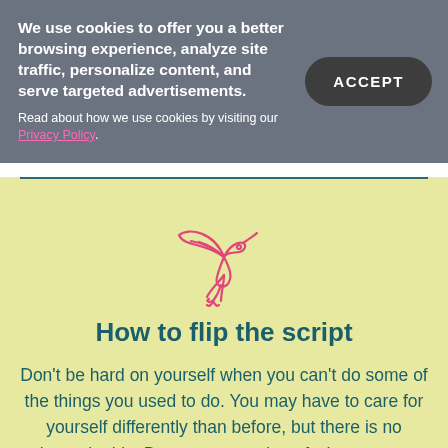We use cookies to offer you a better browsing experience, analyze site traffic, personalize content, and serve targeted advertisements. Read about how we use cookies by visiting our Privacy Policy.
[Figure (illustration): Pink outline illustration of a bird/dove logo]
How to flip the script
Don't be hard on yourself when you can't do some of the things you used to do. You may have to care for yourself differently than before, but there is no shame in this. Be more accepting of what you can do, rather